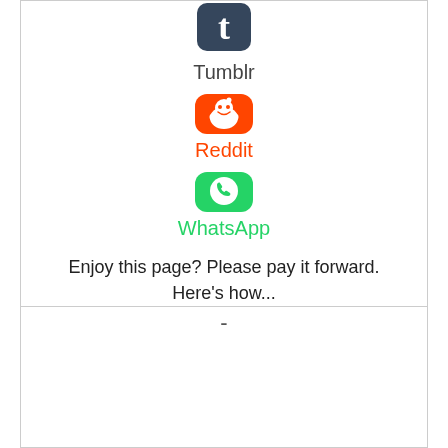[Figure (logo): Tumblr app icon (blue 't' letter on white/blue background)]
Tumblr
[Figure (logo): Reddit app icon (orange rounded square with white Reddit alien/snoo mascot)]
Reddit
[Figure (logo): WhatsApp app icon (green rounded square with white phone/chat bubble symbol)]
WhatsApp
Enjoy this page? Please pay it forward. Here's how...
-